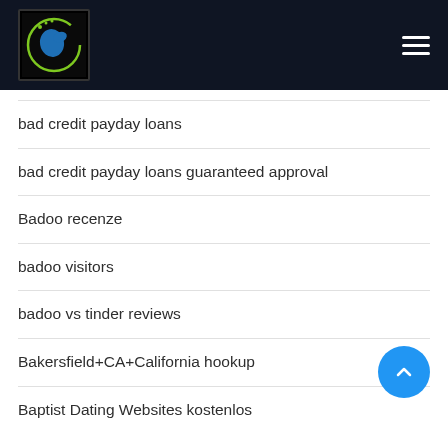[Figure (logo): Website logo with blue bird/circle graphic on dark background with green accent elements]
bad credit payday loans
bad credit payday loans guaranteed approval
Badoo recenze
badoo visitors
badoo vs tinder reviews
Bakersfield+CA+California hookup
Baptist Dating Websites kostenlos